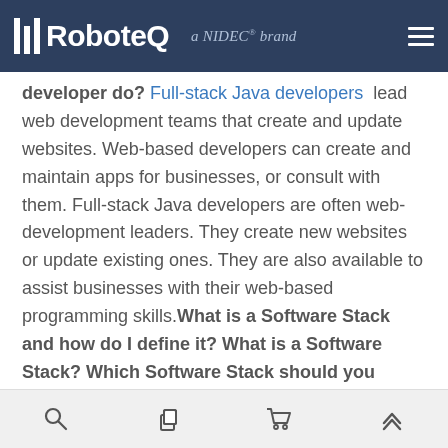RoboteQ a NIDEC® brand
developer do? Full-stack Java developers lead web development teams that create and update websites. Web-based developers can create and maintain apps for businesses, or consult with them. Full-stack Java developers are often web-development leaders. They create new websites or update existing ones. They are also available to assist businesses with their web-based programming skills.What is a Software Stack and how do I define it? What is a Software Stack? Which Software Stack should you learn?A software stack refers to a group of programs that together produce a particular result. It also includes the application and the
navigation icons: search, copy, cart, up